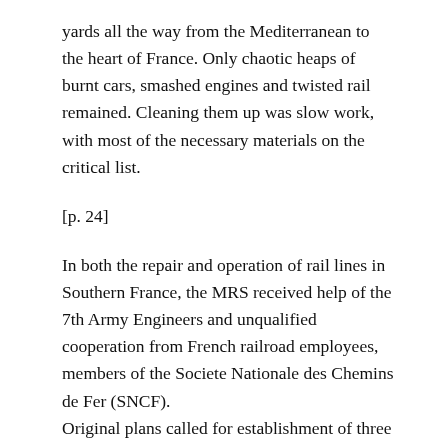yards all the way from the Mediterranean to the heart of France. Only chaotic heaps of burnt cars, smashed engines and twisted rail remained. Cleaning them up was slow work, with most of the necessary materials on the critical list.
[p. 24]
In both the repair and operation of rail lines in Southern France, the MRS received help of the 7th Army Engineers and unqualified cooperation from French railroad employees, members of the Societe Nationale des Chemins de Fer (SNCF). Original plans called for establishment of three phases for the operation of railroads in France, subject always to U. S. control: (1) Operation by american Military; (2) French civilian operation, with U. S. supervision; and (3) Complete operation by French